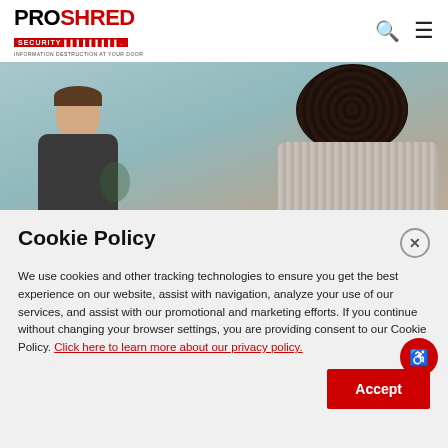PROSHRED SECURITY - INFORMATION DESTRUCTION AT YOUR DOOR
[Figure (photo): Two people in conversation, one smiling facing camera, other with back to camera with curly hair, light blue-gray background]
Cookie Policy
We use cookies and other tracking technologies to ensure you get the best experience on our website, assist with navigation, analyze your use of our services, and assist with our promotional and marketing efforts. If you continue without changing your browser settings, you are providing consent to our Cookie Policy. Click here to learn more about our privacy policy.
Accept